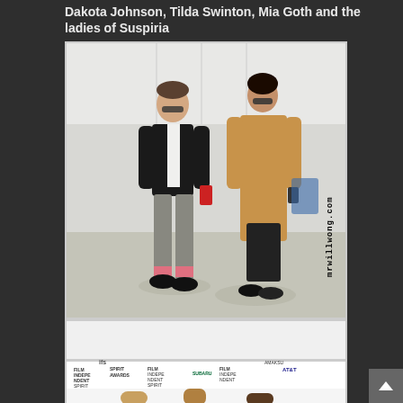Dakota Johnson, Tilda Swinton, Mia Goth and the ladies of Suspiria
[Figure (photo): Two people walking outdoors near white tent structures. A man in a black blazer and grey trousers with pink socks on the left, and a woman in a long camel coat over a dark dress on the right. Watermark 'mrwillwong.com' visible vertically on right side.]
[Figure (photo): Partial view of a red carpet event showing Film Independent Spirit Awards backdrop with AT&T and other sponsor logos, with partial figures of people at the bottom.]